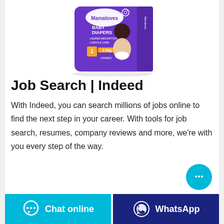[Figure (photo): Mamaloves Baby Diapers purple packaging box with a baby on it, size 1, 2-5kg, Unisex, Super Absorption, Gentle Care]
Job Search | Indeed
With Indeed, you can search millions of jobs online to find the next step in your career. With tools for job search, resumes, company reviews and more, we're with you every step of the way.
[Figure (illustration): Cyan circular chat bubble button with three dots]
[Figure (illustration): Bottom bar with two buttons: Chat online (cyan) and WhatsApp (dark blue)]